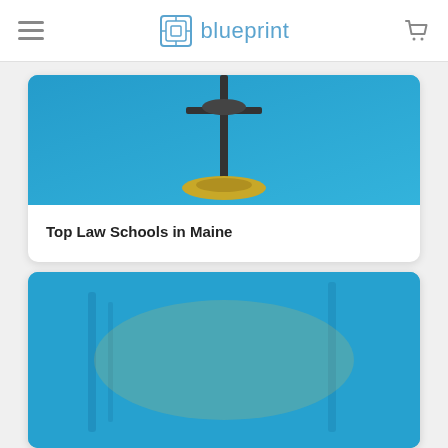blueprint
[Figure (photo): Partial view of a microphone stand on a blue background, cropped at top]
Top Law Schools in Maine
[Figure (photo): Blue banner card with large yellow bold text reading 'LSAT RECAP']